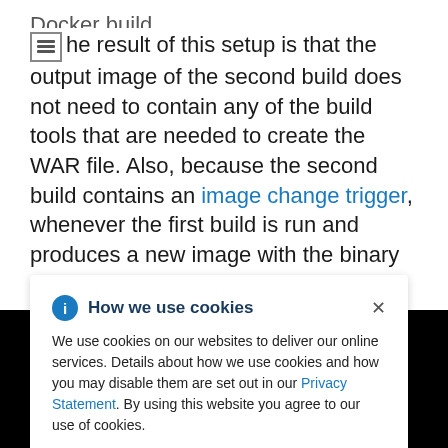The result of this setup is that the output image of the second build does not need to contain any of the build tools that are needed to create the WAR file. Also, because the second build contains an image change trigger, whenever the first build is run and produces a new image with the binary artifact, the second build is automatically triggered to produce a runtime image that contains that artifact. Therefore, both builds
[Figure (screenshot): Cookie consent banner: 'How we use cookies' with info icon and close button. Body text: 'We use cookies on our websites to deliver our online services. Details about how we use cookies and how you may disable them are set out in our Privacy Statement. By using this website you agree to our use of cookies.' Overlaid on a black background with 'Cookie Preferences' text at bottom.]